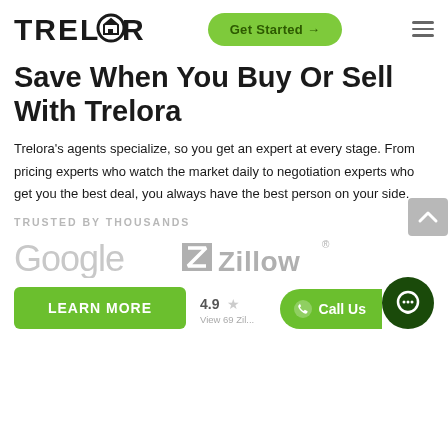[Figure (logo): Trelora logo with house icon in black, bold sans-serif text]
[Figure (other): Green rounded 'Get Started →' button in navbar]
[Figure (other): Hamburger menu icon (three horizontal lines)]
Save When You Buy Or Sell With Trelora
Trelora's agents specialize, so you get an expert at every stage. From pricing experts who watch the market daily to negotiation experts who get you the best deal, you always have the best person on your side.
TRUSTED BY THOUSANDS
[Figure (logo): Google logo in light gray]
[Figure (logo): Zillow logo with Z icon in gray]
[Figure (other): Green 'LEARN MORE' button]
4.9 ★ View 69 Zil...
[Figure (other): Green 'Call Us' button with phone icon]
[Figure (other): Dark green circular chat bubble button]
[Figure (other): Gray scroll-up arrow button]